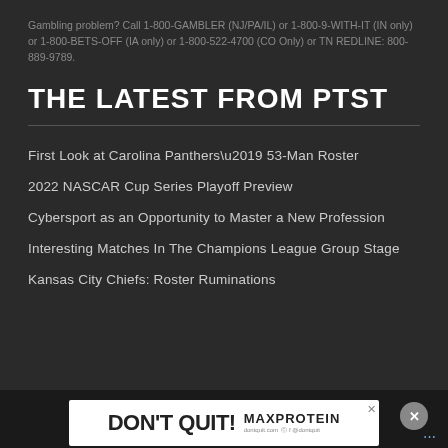Gambling problem? Call 1-800-GAMBLER (NJ/PA/IL) or 1-800-9-WITH-IT (IN only) or 1-800-BETS-OFF (IA only) or 1-800-522-4700 (CO Only) or TN REDLINE: 800-889-9789.
THE LATEST FROM PTST
First Look at Carolina Panthers' 53-Man Roster
2022 NASCAR Cup Series Playoff Preview
Cybersport as an Opportunity to Master a New Profession
Interesting Matches In The Champions League Group Stage
Kansas City Chiefs: Roster Ruminations
[Figure (screenshot): DON'T QUIT! advertisement banner with MAX PROTEIN branding]